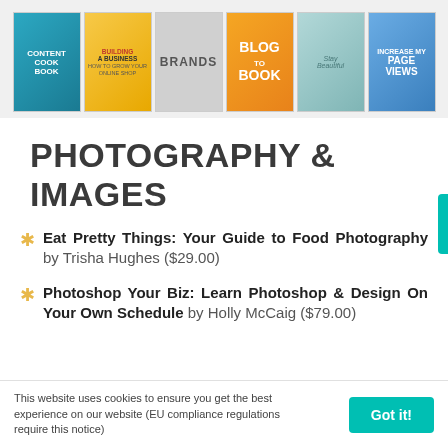[Figure (illustration): A horizontal banner showing six book covers: Content Cookbook, Building a Business, Brands (gray cover), Blog to Book, Stay Beautiful (teal cover), and Increase Page Views (blue cover).]
PHOTOGRAPHY & IMAGES
Eat Pretty Things: Your Guide to Food Photography by Trisha Hughes ($29.00)
Photoshop Your Biz: Learn Photoshop & Design On Your Own Schedule by Holly McCaig ($79.00)
This website uses cookies to ensure you get the best experience on our website (EU compliance regulations require this notice)